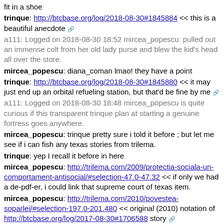fit in a shoe
trinque: http://btcbase.org/log/2018-08-30#1845884 << this is a beautiful anecdote 🔗
a111: Logged on 2018-08-30 18:52 mircea_popescu: pulled out an immense colt from her old lady purse and blew the kid's head all over the store.
mircea_popescu: diana_coman lmao! they have a point
trinque: http://btcbase.org/log/2018-08-30#1845880 << it may just end up an orbital refueling station, but that'd be fine by me 🔗
a111: Logged on 2018-08-30 18:48 mircea_popescu is quite curious if this transparent trinque plan at starting a genuine fortress goes anywhere.
mircea_popescu: trinque pretty sure i told it before ; but let me see if i can fish any texas stories from trilema.
trinque: yep I recall it before in here
mircea_popescu: http://trilema.com/2009/protectia-sociala-un-comportament-antisocial/#selection-47.0-47.32 << if only we had a de-pdf-er, i could link that supreme court of texas item.
mircea_popescu: http://trilema.com/2010/povestea-soparlei/#selection-197.0-201.480 << original (2010) notation of http://btcbase.org/log/2017-08-30#1706588 story 🔗
a111: Logged on 2017-08-30 20:19 mircea_popescu: asciilifeform to illustrate the "10`001" species, did i ever recount the time my toilet was clogged... by an aligator ?
mircea_popescu: including a very wtf'd me at encountering gecko